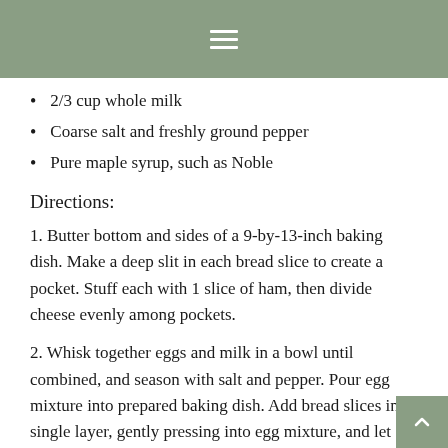≡
2/3 cup whole milk
Coarse salt and freshly ground pepper
Pure maple syrup, such as Noble
Directions:
1. Butter bottom and sides of a 9-by-13-inch baking dish. Make a deep slit in each bread slice to create a pocket. Stuff each with 1 slice of ham, then divide cheese evenly among pockets.
2. Whisk together eggs and milk in a bowl until combined, and season with salt and pepper. Pour egg mixture into prepared baking dish. Add bread slices in a single layer, gently pressing into egg mixture, and let soak 15 minutes. Flip bread You can soak the bread in the egg mixture for at 70 minutes, but the French toast will b...